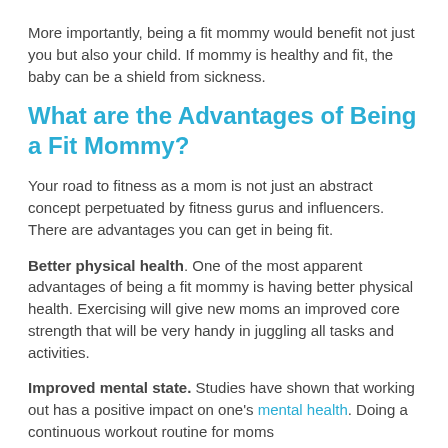More importantly, being a fit mommy would benefit not just you but also your child. If mommy is healthy and fit, the baby can be a shield from sickness.
What are the Advantages of Being a Fit Mommy?
Your road to fitness as a mom is not just an abstract concept perpetuated by fitness gurus and influencers. There are advantages you can get in being fit.
Better physical health. One of the most apparent advantages of being a fit mommy is having better physical health. Exercising will give new moms an improved core strength that will be very handy in juggling all tasks and activities.
Improved mental state. Studies have shown that working out has a positive impact on one's mental health. Doing a continuous workout routine for moms